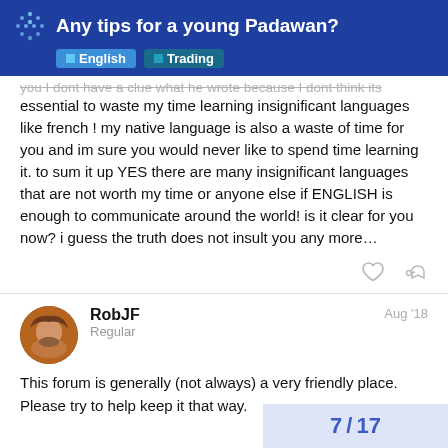Any tips for a young Padawan?
you I dont have a clue what he wrote because I dont think its essential to waste my time learning insignificant languages like french ! my native language is also a waste of time for you and im sure you would never like to spend time learning it. to sum it up YES there are many insignificant languages that are not worth my time or anyone else if ENGLISH is enough to communicate around the world! is it clear for you now? i guess the truth does not insult you any more…
RobJF
Regular
Aug '18
This forum is generally (not always) a very friendly place. Please try to help keep it that way.
7 / 17